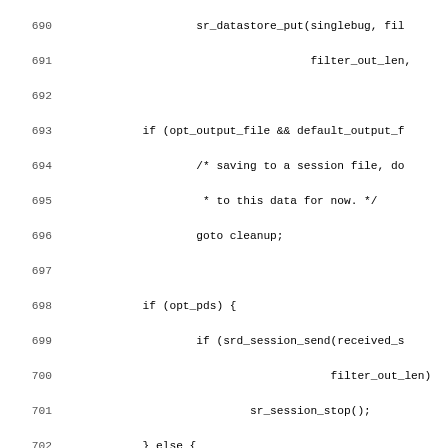Source code listing, lines 690-722, C programming language showing signal recording session handling, output formatting, and analog metadata processing.